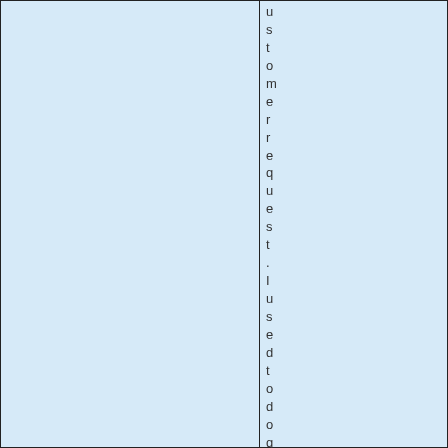[Figure (other): Two-column table-like layout with light blue background cells. Left cell is empty. Right cell contains vertically stacked individual characters spelling out 'customer request. I used to do quite a' with each character on its own line.]
u
s
t
o
m
e
r
r
e
q
u
e
s
t
.
I
u
s
e
d
t
o
d
o
q
u
i
t
e
a